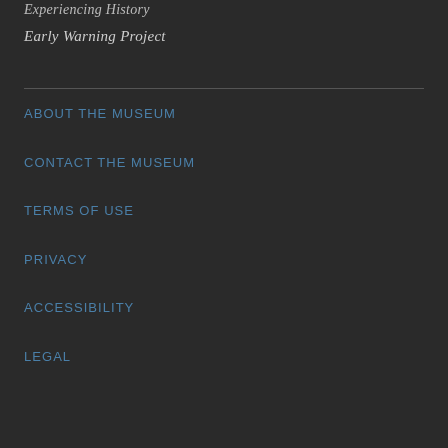Experiencing History
Early Warning Project
ABOUT THE MUSEUM
CONTACT THE MUSEUM
TERMS OF USE
PRIVACY
ACCESSIBILITY
LEGAL